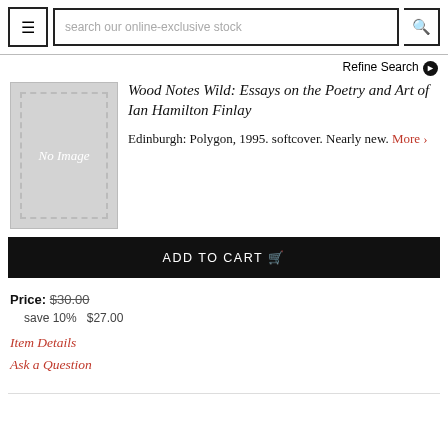search our online-exclusive stock
Refine Search
[Figure (other): Book cover placeholder showing 'No Image']
Wood Notes Wild: Essays on the Poetry and Art of Ian Hamilton Finlay
Edinburgh: Polygon, 1995. softcover. Nearly new. More >
ADD TO CART
Price: $30.00
save 10%   $27.00
Item Details
Ask a Question